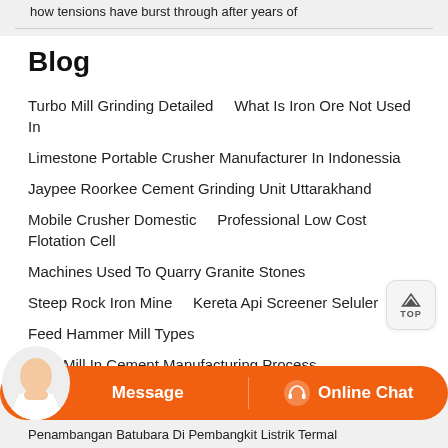how tensions have burst through after years of
Blog
Turbo Mill Grinding Detailed    What Is Iron Ore Not Used In
Limestone Portable Crusher Manufacturer In Indonessia
Jaypee Roorkee Cement Grinding Unit Uttarakhand
Mobile Crusher Domestic    Professional Low Cost Flotation Cell
Machines Used To Quarry Granite Stones
Steep Rock Iron Mine    Kereta Api Screener Seluler
Feed Hammer Mill Types
Coal Mill In Cement Manufacturing Process
Cement Mill Bolts Manufacturers Saudi Arabia
rts Conveyor Manufactures
Message    Online Chat
Penambangan Batubara Di Pembangkit Listrik Termal